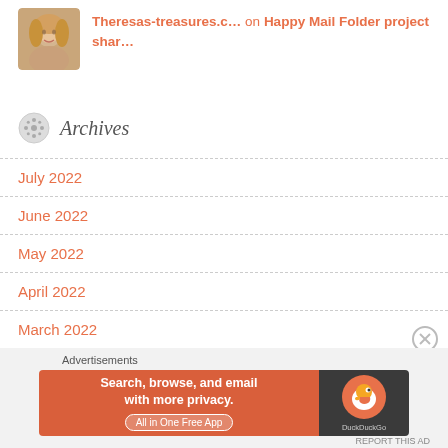Theresas-treasures.c… on Happy Mail Folder project shar…
Archives
July 2022
June 2022
May 2022
April 2022
March 2022
[Figure (infographic): DuckDuckGo advertisement banner: orange left side with text 'Search, browse, and email with more privacy. All in One Free App', dark right side with DuckDuckGo duck logo]
Advertisements
REPORT THIS AD